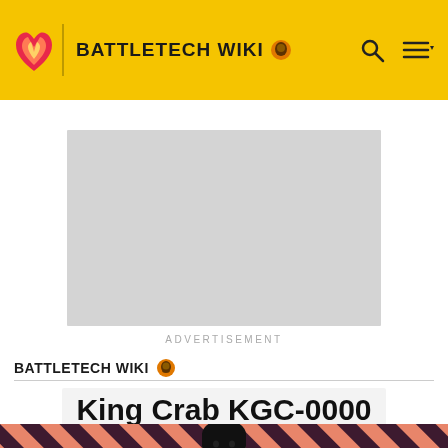BATTLETECH WIKI
[Figure (other): Advertisement placeholder - grey rectangle]
ADVERTISEMENT
BATTLETECH WIKI
King Crab KGC-0000
EDIT
[Figure (illustration): Dark-haired figure standing against coral/salmon and dark purple diagonal striped background, bottom portion of page]